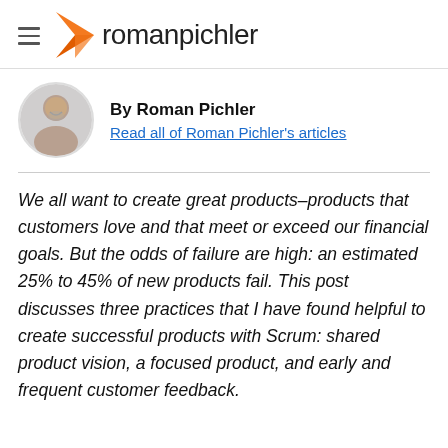romanpichler
By Roman Pichler
Read all of Roman Pichler's articles
We all want to create great products–products that customers love and that meet or exceed our financial goals. But the odds of failure are high: an estimated 25% to 45% of new products fail. This post discusses three practices that I have found helpful to create successful products with Scrum: shared product vision, a focused product, and early and frequent customer feedback.